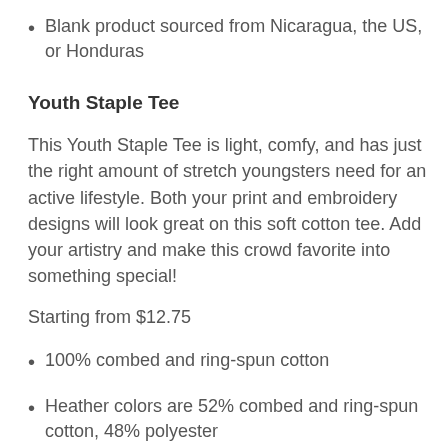Blank product sourced from Nicaragua, the US, or Honduras
Youth Staple Tee
This Youth Staple Tee is light, comfy, and has just the right amount of stretch youngsters need for an active lifestyle. Both your print and embroidery designs will look great on this soft cotton tee. Add your artistry and make this crowd favorite into something special!
Starting from $12.75
100% combed and ring-spun cotton
Heather colors are 52% combed and ring-spun cotton, 48% polyester
Athletic Heather is 90% combed and ring-spun cotton, 10% polyester